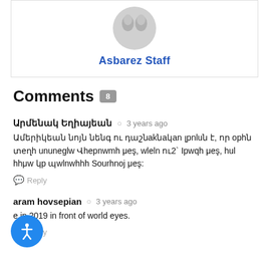[Figure (illustration): Gray placeholder avatar silhouette icon]
Asbarez Staff
Comments 8
Արմենակ Եղիայեան   3 years ago
Ամերիկեան նոյն նենգ ու դաշնակնական լըոlum է, որ օրին տեղի ունեցաւ Վիետնամի մէջ, աւելի ու2` Իրաքh մёջ, հuq hhmu կp պատuhh Solrhnj մёջ:
Reply
aram hovsepian   3 years ago
e in 2019 in front of world eyes.
Reply